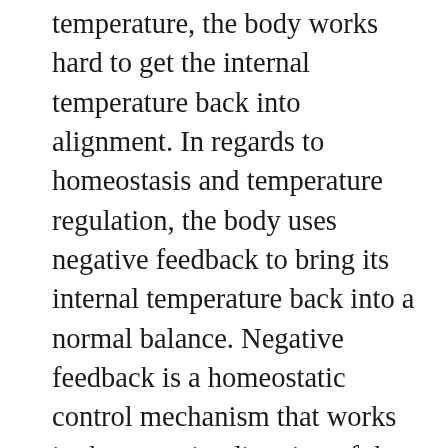temperature, the body works hard to get the internal temperature back into alignment. In regards to homeostasis and temperature regulation, the body uses negative feedback to bring its internal temperature back into a normal balance. Negative feedback is a homeostatic control mechanism that works in the opposite direction of the initial change to help regulate that change and bring certain variables, such as body temperature, back to normal levels.